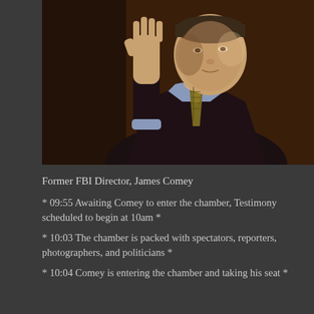[Figure (photo): Former FBI Director James Comey raising his right hand as if taking an oath, wearing a dark suit with a gold patterned tie and light blue shirt, against a dark background.]
Former FBI Director, James Comey
* 09:55 Awaiting Comey to enter the chamber, Testimony scheduled to begin at 10am *
* 10:03 The chamber is packed with spectators, reporters, photographers, and politicians *
* 10:04 Comey is entering the chamber and taking his seat *